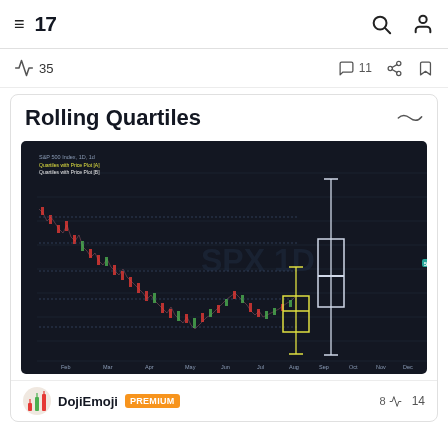≡  17  🔍  👤
🔥 35   💬 11   🔗   🔖
Rolling Quartiles
[Figure (screenshot): TradingView chart of S&P 500 Index (SPX 1D) showing candlestick price data with Rolling Quartiles overlay. Two box-and-whisker plots are visible: one yellow/white box plot on the right side and one white box plot further right. Chart shows price data from Feb through 2025 with USD scale on right axis ranging approximately 3900 to 6000.]
DojiEmoji  PREMIUM  8🔥 14